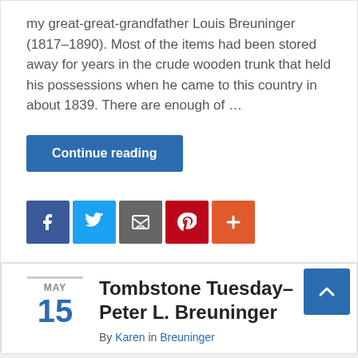my great-great-grandfather Louis Breuninger (1817–1890). Most of the items had been stored away for years in the crude wooden trunk that held his possessions when he came to this country in about 1839. There are enough of …
Continue reading
[Figure (infographic): Social share buttons: Facebook (blue), Twitter (light blue), Email/share (gray), Pinterest (red), More/plus (orange-red)]
Breuninger, Civil War
2 comments
Tombstone Tuesday–Peter L. Breuninger
By Karen in Breuninger